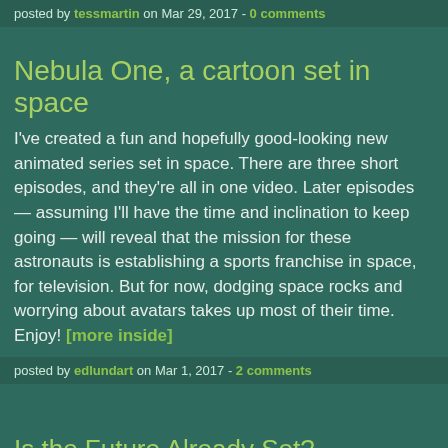posted by tessmartin on Mar 29, 2017 - 0 comments
Nebula One, a cartoon set in space
I've created a fun and hopefully good-looking new animated series set in space. There are three short episodes, and they're all in one video. Later episodes — assuming I'll have the time and inclination to keep going — will reveal that the mission for these astronauts is establishing a sports franchise in space, for television. But for now, dodging space rocks and worrying about avatars takes up most of their time. Enjoy! [more inside]
posted by edlundart on Mar 1, 2017 - 2 comments
Is the Future Already Set?
We think the past is immutable and the future is yet to be written. But is that really true? First, it's a question of relativity...